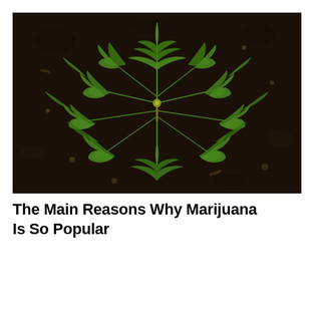[Figure (photo): Aerial top-down view of a young marijuana/cannabis plant with multiple serrated green leaves spreading outward from a central stem, growing in dark soil/earth.]
The Main Reasons Why Marijuana Is So Popular